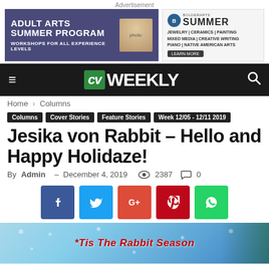Advertisement
[Figure (infographic): Two advertisement banners side by side. Left: 'ADULT ARTS SUMMER PROGRAM - WORKSHOPS FOR ALL EXPERIENCE LEVELS' on dark purple background with a woman crafting. Right: Bolderarts SUMMER ad listing JEWELRY, CERAMICS, PAINTING, MIXED MEDIA, CREATIVE WRITING, PIANO, NATIVE AMERICAN ARTS with LEARN MORE button.]
CV WEEKLY
Home › Columns
Columns | Cover Stories | Feature Stories | Week 12/05 - 12/11 2019
Jesika von Rabbit – Hello and Happy Holidaze!
By Admin - December 4, 2019 👁 2387 💬 0
[Figure (infographic): Social share buttons: Facebook (blue), Twitter (light blue), Google+ (red-orange), Pinterest (red), WhatsApp (green)]
[Figure (photo): Article header image with text '*Tis The Rabbit Season' on a winter/holiday themed background with blue sky and seasonal decorations]